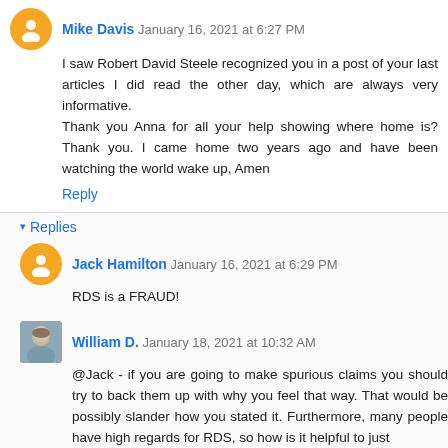Mike Davis January 16, 2021 at 6:27 PM
I saw Robert David Steele recognized you in a post of your last articles I did read the other day, which are always very informative.
Thank you Anna for all your help showing where home is? Thank you. I came home two years ago and have been watching the world wake up, Amen
Reply
Replies
Jack Hamilton January 16, 2021 at 6:29 PM
RDS is a FRAUD!
William D. January 18, 2021 at 10:32 AM
@Jack - if you are going to make spurious claims you should try to back them up with why you feel that way. That would be possibly slander how you stated it. Furthermore, many people have high regards for RDS, so how is it helpful to just